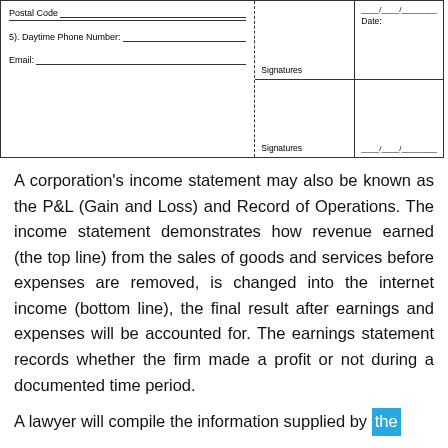| Postal Code___ | Signatures | ____/____/____ |
| 5). Daytime Phone Number:___ |  | Date: |
| Email:___ | Signatures | ____/____/____ |
A corporation's income statement may also be known as the P&L (Gain and Loss) and Record of Operations. The income statement demonstrates how revenue earned (the top line) from the sales of goods and services before expenses are removed, is changed into the internet income (bottom line), the final result after earnings and expenses will be accounted for. The earnings statement records whether the firm made a profit or not during a documented time period.
A lawyer will compile the information supplied by the